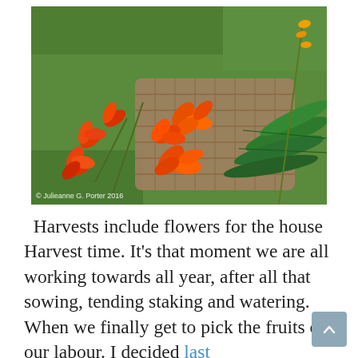[Figure (photo): Photograph of orange and red crocosmia flowers spilling out of a wicker basket lying on green grass. Copyright © Julieanne G. Porter 2016 is shown in the lower-left corner of the image.]
© Julieanne G. Porter 2016
Harvests include flowers for the house Harvest time. It's that moment we are all working towards all year, after all that sowing, tending staking and watering. When we finally get to pick the fruits of our labour. I decided last